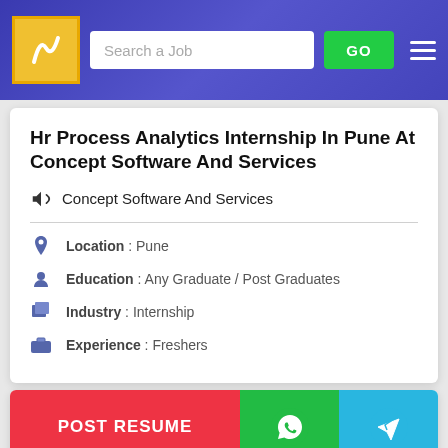[Figure (screenshot): Job portal website header with logo, search bar, GO button, and hamburger menu on blue/purple gradient background]
Hr Process Analytics Internship In Pune At Concept Software And Services
Concept Software And Services
Location : Pune
Education : Any Graduate / Post Graduates
Industry : Internship
Experience : Freshers
POST RESUME
Alfalabs Technologies